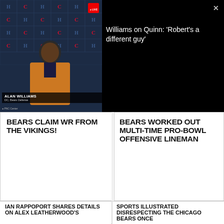[Figure (screenshot): Video thumbnail showing Alan Williams at Chicago Bears press conference podium with Bears/Hyundai backdrop]
Williams on Quinn: 'Robert's a different guy'
BEARS CLAIM WR FROM THE VIKINGS!
BEARS WORKED OUT MULTI-TIME PRO-BOWL OFFENSIVE LINEMAN
[Figure (screenshot): TV broadcast screenshot showing NFL game footage and news anchor with lower-third chyron: Raiders cut T Alex Leatherwood - 17th overall pick in 2021 NFL Draft]
[Figure (screenshot): Sports Illustrated QB cover featuring Justin Fields holding Chicago Bears FIELDS #1 jersey]
IAN RAPPOPORT SHARES DETAILS ON ALEX LEATHERWOOD'S
SPORTS ILLUSTRATED DISRESPECTING THE CHICAGO BEARS ONCE